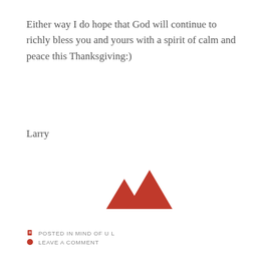Either way I do hope that God will continue to richly bless you and yours with a spirit of calm and peace this Thanksgiving:)
Larry
[Figure (logo): Red mountain/peaks logo icon — three red triangular mountain shapes]
POSTED IN MIND OF U L
LEAVE A COMMENT
NOVEMBER 9,  2017
Alexa Echo Plus and